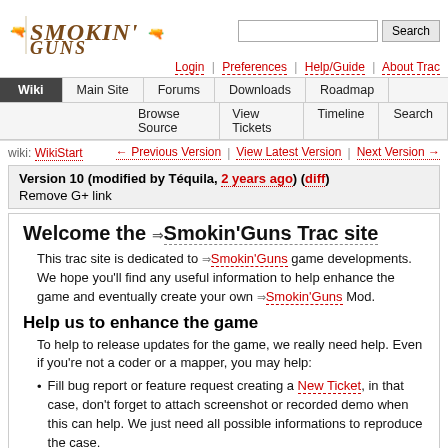[Figure (logo): Smokin' Guns logo with crossed pistols graphic and stylized text]
Login | Preferences | Help/Guide | About Trac
Wiki | Main Site | Forums | Downloads | Roadmap | Browse Source | View Tickets | Timeline | Search
wiki: WikiStart ← Previous Version | View Latest Version | Next Version →
Version 10 (modified by Téquila, 2 years ago) (diff)
Remove G+ link
Welcome the ⇒Smokin'Guns Trac site
This trac site is dedicated to ⇒Smokin'Guns game developments. We hope you'll find any useful information to help enhance the game and eventually create your own ⇒Smokin'Guns Mod.
Help us to enhance the game
To help to release updates for the game, we really need help. Even if you're not a coder or a mapper, you may help:
Fill bug report or feature request creating a New Ticket, in that case, don't forget to attach screenshot or recorded demo when this can help. We just need all possible informations to reproduce the case.